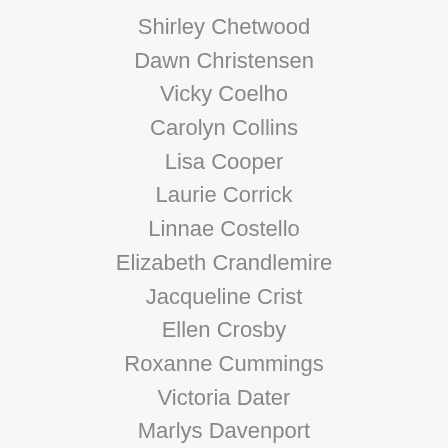Shirley Chetwood
Dawn Christensen
Vicky Coelho
Carolyn Collins
Lisa Cooper
Laurie Corrick
Linnae Costello
Elizabeth Crandlemire
Jacqueline Crist
Ellen Crosby
Roxanne Cummings
Victoria Dater
Marlys Davenport
Ann DeAngeli
Gena Delucchi